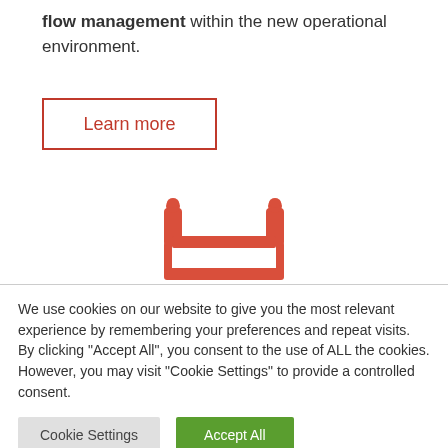flow management within the new operational environment.
[Figure (other): A red 'Learn more' button with rectangular border outline]
[Figure (illustration): Red icon of a bed/sleep symbol]
We use cookies on our website to give you the most relevant experience by remembering your preferences and repeat visits. By clicking "Accept All", you consent to the use of ALL the cookies. However, you may visit "Cookie Settings" to provide a controlled consent.
Cookie Settings | Accept All